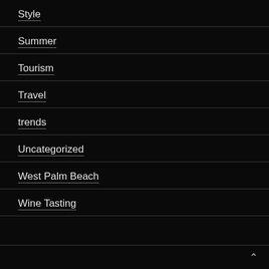Style
Summer
Tourism
Travel
trends
Uncategorized
West Palm Beach
Wine Tasting
^